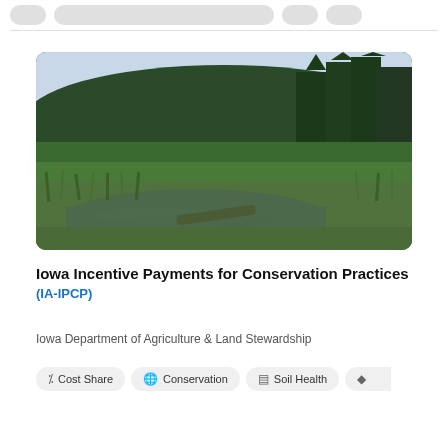[Figure (photo): Landscape photo showing a wetland or bog area with tall green grass in the foreground, a calm reflective pond or stream, and a dense forest of evergreen trees covering a hillside in the background under a pale blue sky.]
Iowa Incentive Payments for Conservation Practices (IA-IPCP)
Iowa Department of Agriculture & Land Stewardship
Cost Share
Conservation
Soil Health